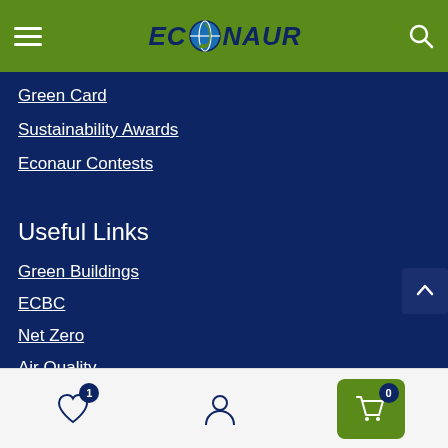ECONAUR
Green Card
Sustainability Awards
Econaur Contests
Useful Links
Green Buildings
ECBC
Net Zero
Air Quality
Terms